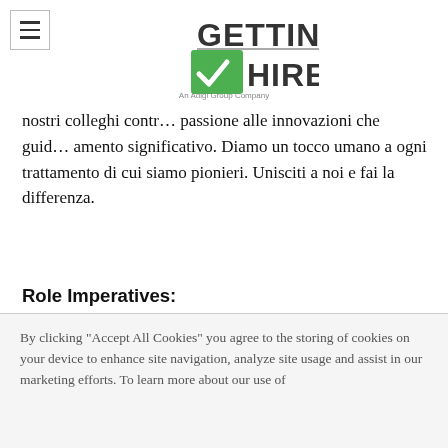Getting Hired (An Adigi Group Company) logo with hamburger menu
nostri colleghi contr… passione alle innovazioni che guid… amento significativo. Diamo un tocco umano a ogni trattamento di cui siamo pionieri. Unisciti a noi e fai la differenza.
Role Imperatives:
The Executive Clinical Team Leader will set the clinical development strategy for multiple transition assets across a broad range of tumor types.
This role will include above tumor strategy work (e.g., advising broad Clinical
By clicking "Accept All Cookies" you agree to the storing of cookies on your device to enhance site navigation, analyze site usage and assist in our marketing efforts. To learn more about our use of